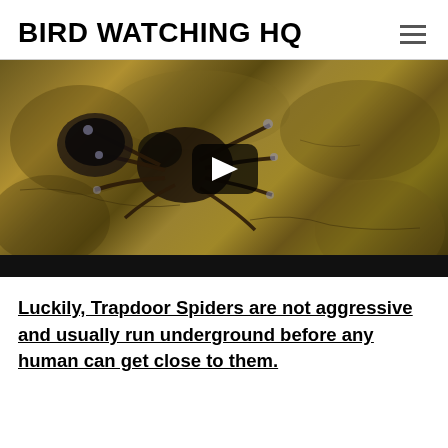BIRD WATCHING HQ
[Figure (screenshot): Video thumbnail showing a trapdoor spider on earthy ground with a play button overlay in the center]
Luckily, Trapdoor Spiders are not aggressive and usually run underground before any human can get close to them.